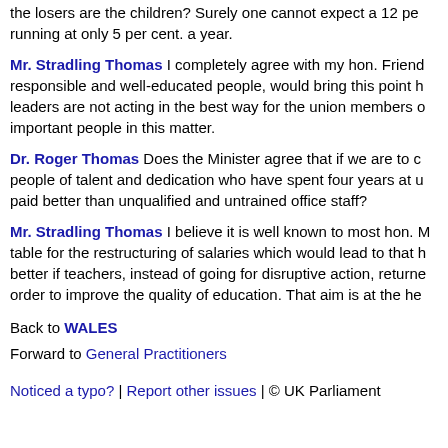the losers are the children? Surely one cannot expect a 12 per cent. rise in wages when inflation is running at only 5 per cent. a year.
Mr. Stradling Thomas I completely agree with my hon. Friend. I believe that responsible and well-educated people, would bring this point home that union leaders are not acting in the best way for the union members or for the most important people in this matter.
Dr. Roger Thomas Does the Minister agree that if we are to compete we need people of talent and dedication who have spent four years at university should be paid better than unqualified and untrained office staff?
Mr. Stradling Thomas I believe it is well known to most hon. Members that a table for the restructuring of salaries which would lead to that has been put on the table better if teachers, instead of going for disruptive action, returned to the classroom in order to improve the quality of education. That aim is at the heart of the matter.
Back to WALES
Forward to General Practitioners
Noticed a typo? | Report other issues | © UK Parliament